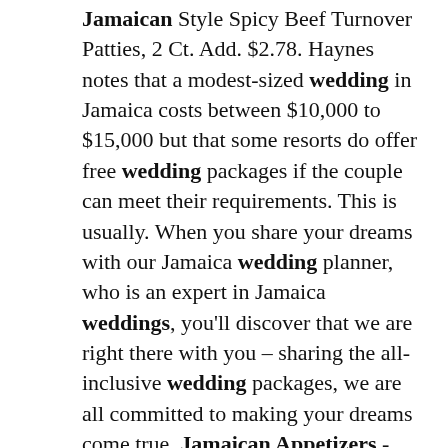Jamaican Style Spicy Beef Turnover Patties, 2 Ct. Add. $2.78. Haynes notes that a modest-sized wedding in Jamaica costs between $10,000 to $15,000 but that some resorts do offer free wedding packages if the couple can meet their requirements. This is usually. When you share your dreams with our Jamaica wedding planner, who is an expert in Jamaica weddings, you'll discover that we are right there with you – sharing the all-inclusive wedding packages, we are all committed to making your dreams come true. Jamaican Appetizers - Hallo sahabat Recip prism, Pada Artikel yang kamu baca kali ini bersama judul Jamaican Appetizers. Jan 13, 2021 · Hummingbird cake is a Jamaican dessert that is typically made with flour, vegetable oil, bananas, pineapple, pecans, eggs, vanilla, sugar, salt, cinnamon, and leavening agents. It is usually served with cream cheese frosting. Often thought